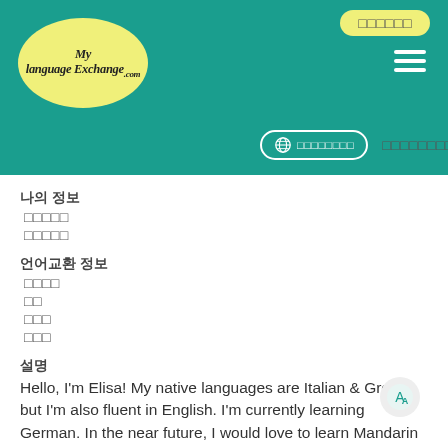MyLanguageExchange.com — navigation header with logo, login button, hamburger menu, language selector
나의 정보
□□□□□
□□□□□
언어교환 정보
□□□□
□□
□□□
□□□
설명
Hello, I'm Elisa! My native languages are Italian & Greek, but I'm also fluent in English. I'm currently learning German. In the near future, I would love to learn Mandarin Chinese and Korean, too. I truly believe that the best way to understand different cultures and languages is through the native